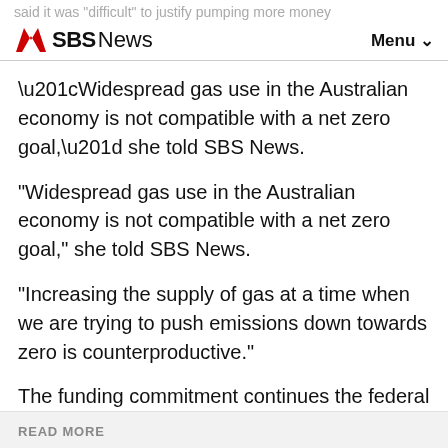said it was "difficult" to justify pumping more money
SBS News   Menu
“Widespread gas use in the Australian economy is not compatible with a net zero goal,” she told SBS News.
“Increasing the supply of gas at a time when we are trying to push emissions down towards zero is counterproductive.”
The funding commitment continues the federal government's pursuit of a controversial plan for a “gas-fired recovery” from the COVID-19 pandemic.
READ MORE